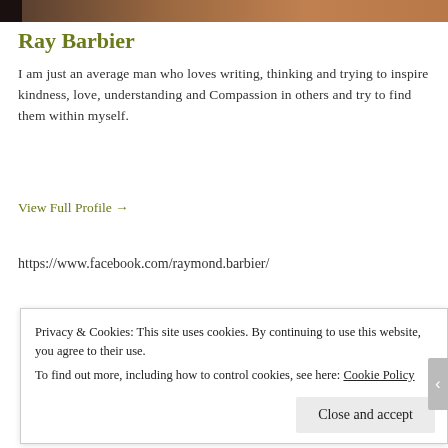[Figure (photo): Partial cropped photo strip at top of page showing a person, partially visible]
Ray Barbier
I am just an average man who loves writing, thinking and trying to inspire kindness, love, understanding and Compassion in others and try to find them within myself.
View Full Profile →
https://www.facebook.com/raymond.barbier/
Advertisements
[Figure (logo): AUTOMATTIC logo text partially visible]
Privacy & Cookies: This site uses cookies. By continuing to use this website, you agree to their use.
To find out more, including how to control cookies, see here: Cookie Policy
Close and accept